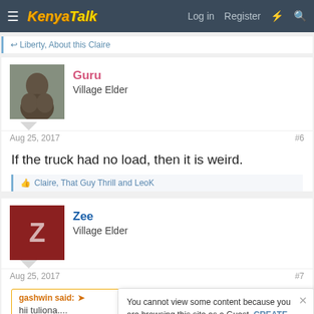KenyaTalk — Log in  Register
Liberty, About this Claire
Guru
Village Elder
Aug 25, 2017   #6
If the truck had no load, then it is weird.
Claire, That Guy Thrill and LeoK
Zee
Village Elder
Aug 25, 2017   #7
gashwin said:
hii tuliona....
You cannot view some content because you are browsing this site as a Guest. CREATE AN ACCOUNT to enjoy access to all content.